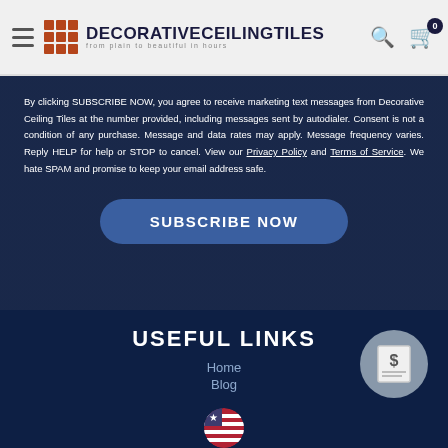DecorativeCeilingTiles — from plain to beautiful in hours
By clicking SUBSCRIBE NOW, you agree to receive marketing text messages from Decorative Ceiling Tiles at the number provided, including messages sent by autodialer. Consent is not a condition of any purchase. Message and data rates may apply. Message frequency varies. Reply HELP for help or STOP to cancel. View our Privacy Policy and Terms of Service. We hate SPAM and promise to keep your email address safe.
SUBSCRIBE NOW
USEFUL LINKS
Home
Blog